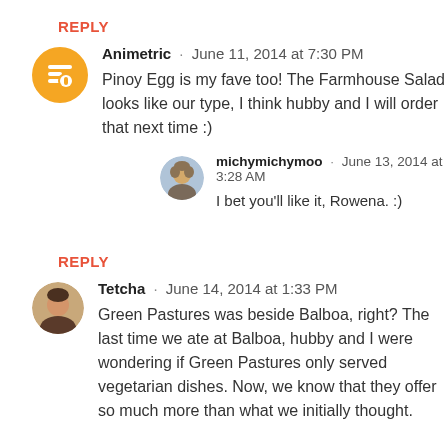REPLY
Animetric · June 11, 2014 at 7:30 PM
Pinoy Egg is my fave too! The Farmhouse Salad looks like our type, I think hubby and I will order that next time :)
michymichymoo · June 13, 2014 at 3:28 AM
I bet you'll like it, Rowena. :)
REPLY
Tetcha · June 14, 2014 at 1:33 PM
Green Pastures was beside Balboa, right? The last time we ate at Balboa, hubby and I were wondering if Green Pastures only served vegetarian dishes. Now, we know that they offer so much more than what we initially thought.